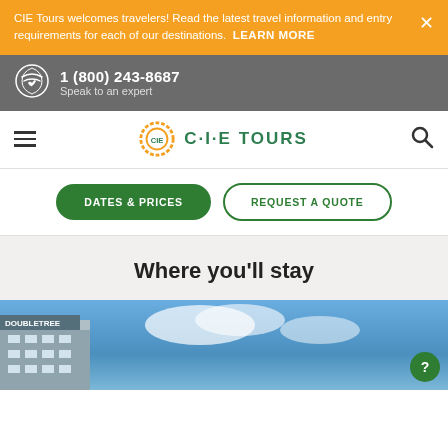CIE Tours welcomes travelers! Read the latest travel information and entry requirements for each of our destinations. LEARN MORE
1 (800) 243-8687 Speak to an expert
[Figure (logo): CIE Tours logo with circular orange dotted ring and green text C-I-E TOURS]
DATES & PRICES
REQUEST A QUOTE
Where you'll stay
[Figure (photo): Bottom portion of a hotel building (DoubleTree) against a blue sky]